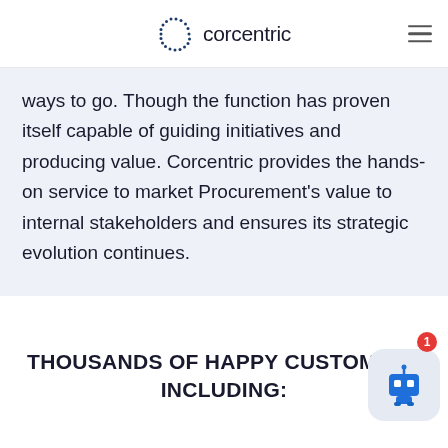corcentric
ways to go. Though the function has proven itself capable of guiding initiatives and producing value. Corcentric provides the hands-on service to market Procurement's value to internal stakeholders and ensures its strategic evolution continues.
THOUSANDS OF HAPPY CUSTOMERS INCLUDING: